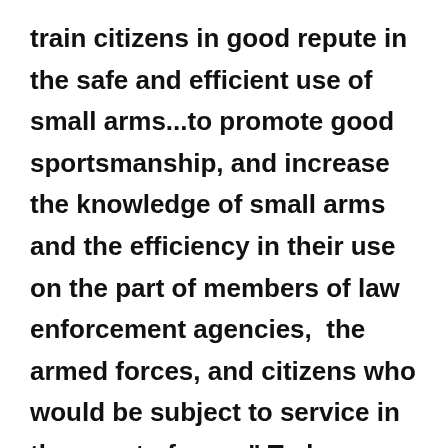train citizens in good repute in the safe and efficient use of small arms...to promote good sportsmanship, and increase the knowledge of small arms and the efficiency in their use on the part of members of law enforcement agencies,  the armed forces, and citizens who would be subject to service in the event of war..." Today, many NRA members still hold to the old ways of the organization: sportsmanship,